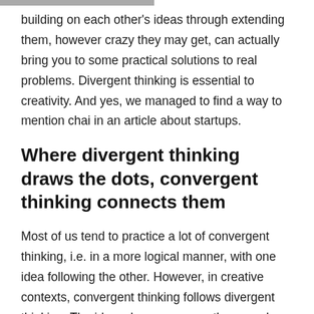building on each other's ideas through extending them, however crazy they may get, can actually bring you to some practical solutions to real problems. Divergent thinking is essential to creativity. And yes, we managed to find a way to mention chai in an article about startups.
Where divergent thinking draws the dots, convergent thinking connects them
Most of us tend to practice a lot of convergent thinking, i.e. in a more logical manner, with one idea following the other. However, in creative contexts, convergent thinking follows divergent thinking. The ideas, however crazy they may be, that you came up with in your divergent thinking exercise can now be looked at as a whole. Here, using the knowledge and prototypes we have, we look to connect